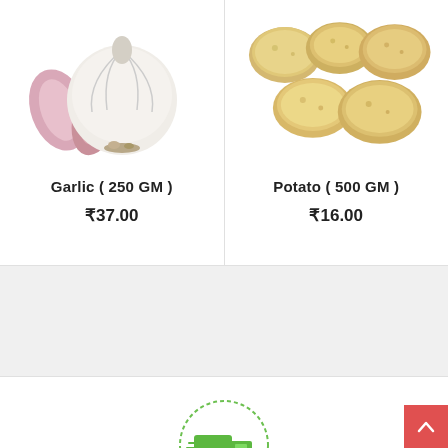[Figure (photo): Garlic cloves product image — a whole garlic bulb with separated cloves on white background]
Garlic ( 250 GM )
₹37.00
[Figure (photo): Potato product image — several yellow/golden potatoes on white background]
Potato ( 500 GM )
₹16.00
[Figure (other): Gray banner / advertisement area]
[Figure (illustration): Green delivery truck icon inside a green dashed circle]
NEXT DAY DELIVERY